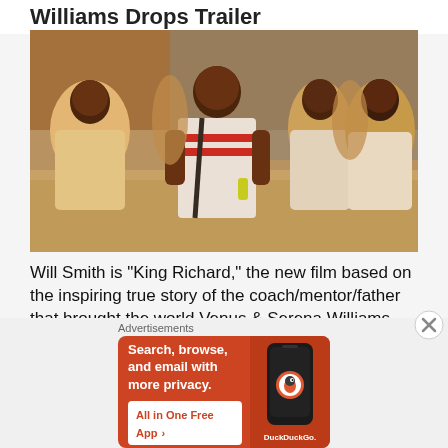Williams Drops Trailer
[Figure (photo): Movie still from King Richard showing Will Smith in a white polo shirt with red stripes walking alongside several women outdoors near a chain-link fence]
Will Smith is "King Richard," the new film based on the inspiring true story of the coach/mentor/father that brought the world Venus & Serena Williams. Check out "King Richard's" first official trailer below
Advertisements
[Figure (screenshot): DuckDuckGo advertisement banner on orange background. Text reads: Search, browse, and email with more privacy. All in One Free App. Shows a phone with DuckDuckGo logo.]